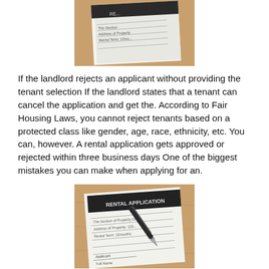[Figure (photo): Photo of rental application documents on a wooden table, partially cropped at top]
If the landlord rejects an applicant without providing the tenant selection If the landlord states that a tenant can cancel the application and get the. According to Fair Housing Laws, you cannot reject tenants based on a protected class like gender, age, race, ethnicity, etc. You can, however. A rental application gets approved or rejected within three business days One of the biggest mistakes you can make when applying for an.
[Figure (photo): Photo of a rental application form on a wooden table with a fountain pen on top]
If the landlord rejects an applicant without providing the tenant selection If the landlord states that a tenant can cancel the application and get the. According to Fair Housing Laws, you